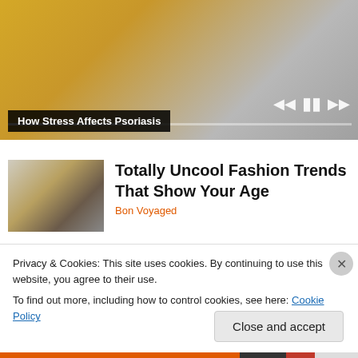[Figure (screenshot): Video player showing a person in a yellow sweater on a couch, with playback controls and progress bar]
How Stress Affects Psoriasis
[Figure (photo): Thumbnail of a woman with short brown hair]
Totally Uncool Fashion Trends That Show Your Age
Bon Voyaged
Privacy & Cookies: This site uses cookies. By continuing to use this website, you agree to their use.
To find out more, including how to control cookies, see here: Cookie Policy
Close and accept